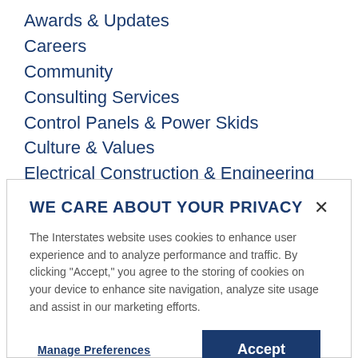Awards & Updates
Careers
Community
Consulting Services
Control Panels & Power Skids
Culture & Values
Electrical Construction & Engineering
Industrial Automation & Integration
Let's Talk Videos
WE CARE ABOUT YOUR PRIVACY
The Interstates website uses cookies to enhance user experience and to analyze performance and traffic. By clicking "Accept," you agree to the storing of cookies on your device to enhance site navigation, analyze site usage and assist in our marketing efforts.
Manage Preferences
Accept